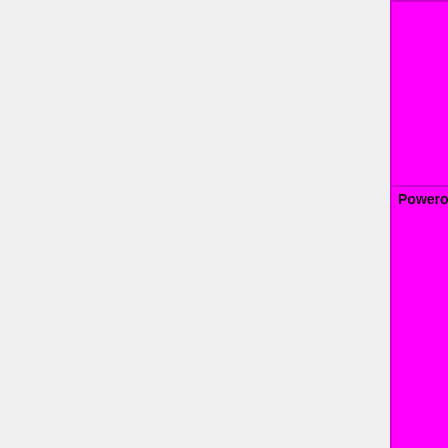| Feature | Status |
| --- | --- |
|  | WIP=orange | Untested=yellow | N/A=lightgray yellow }}" | OK... |
| Poweroff | OK=lime | TODO=red | No=red | WIP=orange | Untested=yellow | N/A=lightgray yellow }}" | No... |
| #uspend | OK=lime | TODO=red | No=red | WIP=orange | Untested=yellow | N/A=lightgray yellow }}" | Unknown |
| Nonstandard LEDs | OK=lime | TODO=red | No=red | WIP=orange |